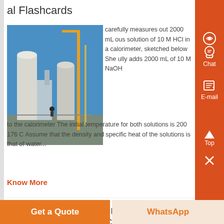al Flashcards
[Figure (photo): Industrial facility with cranes and large white cylindrical structures against a blue sky]
carefully measures out 2000 mL ous solution of 10 M HCl in a calorimeter, sketched below She ully adds 2000 mL of 10 M NaOH to the calorimeter The initial temperature for both solutions is 200 176 C Assume that the density and specific heat of the solutions is that of water...
Know More
t Landforms and Cycle of
[Figure (photo): Misty landscape with silhouettes of poles or towers in foggy conditions]
containing limestone in solution